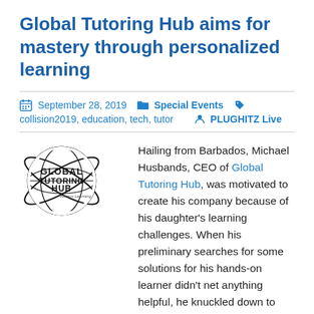Global Tutoring Hub aims for mastery through personalized learning
September 28, 2019   Special Events   collision2019, education, tech, tutor   PLUGHITZ Live
[Figure (logo): Global Tutoring Hub logo — globe with orbiting lines, text reading GLOBAL TUTORING HUB Always Learning]
Hailing from Barbados, Michael Husbands, CEO of Global Tutoring Hub, was motivated to create his company because of his daughter's learning challenges. When his preliminary searches for some solutions for his hands-on learner didn't net anything helpful, he knuckled down to create a solution that worked for his daughter as well for others who learned like she did – which turns out to be most of us, since the majority of learners